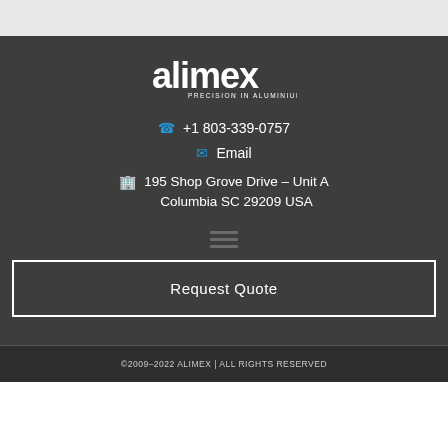[Figure (logo): Alimex logo with text 'PRECISION IN ALUMINIUM']
+1 803-339-0757
Email
195 Shop Grove Drive – Unit A
Columbia SC 29209 USA
Request Quote
©2009-2022 ALIMEX | ALL RIGHTS RESERVED